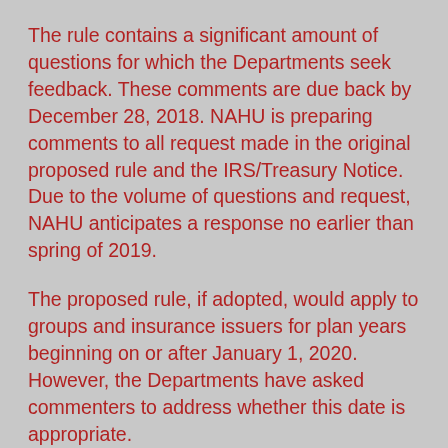The rule contains a significant amount of questions for which the Departments seek feedback. These comments are due back by December 28, 2018. NAHU is preparing comments to all request made in the original proposed rule and the IRS/Treasury Notice. Due to the volume of questions and request, NAHU anticipates a response no earlier than spring of 2019.
The proposed rule, if adopted, would apply to groups and insurance issuers for plan years beginning on or after January 1, 2020. However, the Departments have asked commenters to address whether this date is appropriate.
Conclusion